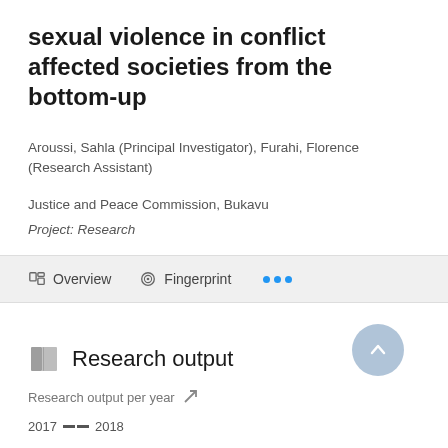sexual violence in conflict affected societies from the bottom-up
Aroussi, Sahla (Principal Investigator), Furahi, Florence (Research Assistant)
Justice and Peace Commission, Bukavu
Project: Research
Overview   Fingerprint   ...
Research output
Research output per year
2017 -- 2018